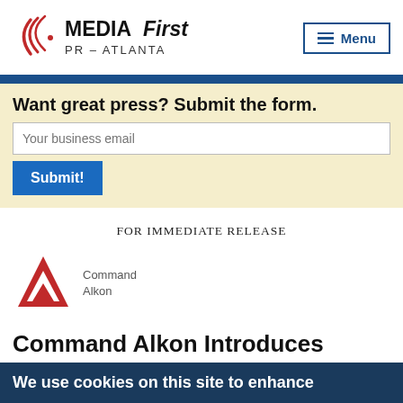[Figure (logo): MediaFirst PR - Atlanta logo with red swoosh/signal icon and bold text]
[Figure (infographic): Menu button with three horizontal lines icon and 'Menu' text inside a rectangular border]
Want great press? Submit the form.
Your business email
Submit!
FOR IMMEDIATE RELEASE
[Figure (logo): Command Alkon logo: red triangular icon with white cutout arrow, and 'Command Alkon' text in gray]
Command Alkon Introduces CONNEX – The Supplier
We use cookies on this site to enhance